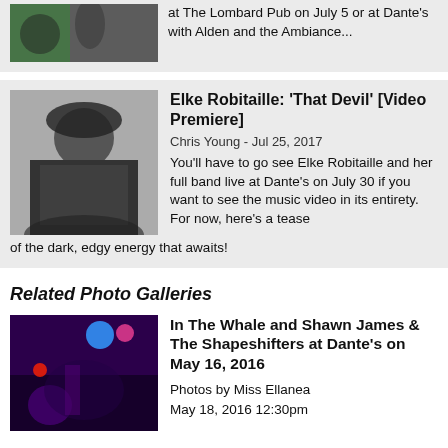[Figure (photo): Partial image of performers at a venue, cropped at top]
at The Lombard Pub on July 5 or at Dante's with Alden and the Ambiance...
[Figure (photo): Black and white portrait of Elke Robitaille wearing a wide-brim hat and dark outfit]
Elke Robitaille: 'That Devil' [Video Premiere]
Chris Young - Jul 25, 2017
You'll have to go see Elke Robitaille and her full band live at Dante's on July 30 if you want to see the music video in its entirety. For now, here's a tease of the dark, edgy energy that awaits!
Related Photo Galleries
[Figure (photo): Concert photo of musicians on stage with colorful purple and blue lighting at Dante's]
In The Whale and Shawn James & The Shapeshifters at Dante's on May 16, 2016
Photos by Miss Ellanea
May 18, 2016 12:30pm